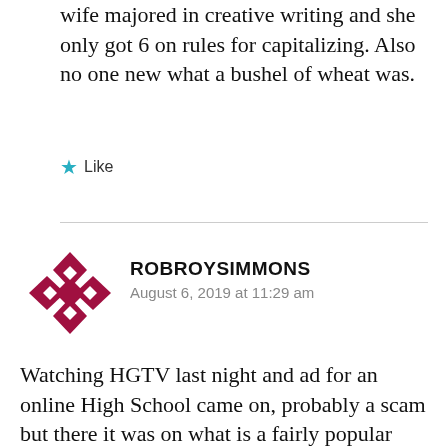wife majored in creative writing and she only got 6 on rules for capitalizing. Also no one new what a bushel of wheat was.
★ Like
ROBROYSIMMONS
August 6, 2019 at 11:29 am
[Figure (illustration): Diamond pattern avatar icon in dark red/crimson color with geometric shapes]
Watching HGTV last night and ad for an online High School came on, probably a scam but there it was on what is a fairly popular cable channel.